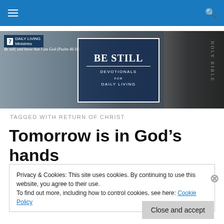Daily Living Ministries navigation bar
[Figure (illustration): Be Still Devotionals for Daily Living banner with Holy Bible image and Daily Living Ministries logo. Text: 'Be still, and know that I am God (Psalm 46:10)']
TAGGED WITH RETURN OF CHRIST
Tomorrow is in God’s hands
Privacy & Cookies: This site uses cookies. By continuing to use this website, you agree to their use.
To find out more, including how to control cookies, see here: Cookie Policy